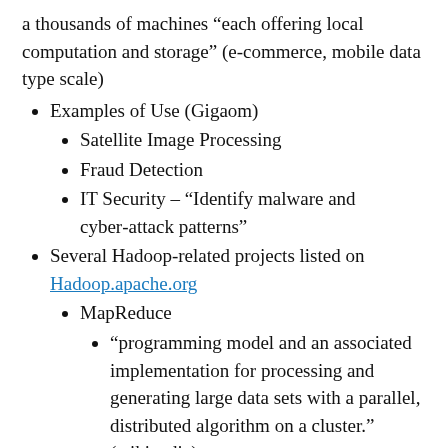a thousands of machines “each offering local computation and storage” (e-commerce, mobile data type scale)
Examples of Use (Gigaom)
Satellite Image Processing
Fraud Detection
IT Security – “Identify malware and cyber-attack patterns”
Several Hadoop-related projects listed on Hadoop.apache.org
MapReduce
“programming model and an associated implementation for processing and generating large data sets with a parallel, distributed algorithm on a cluster.” (wikipedia)